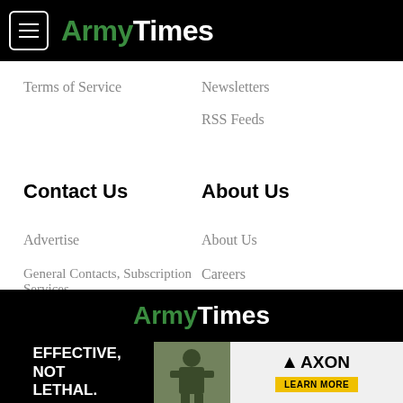ArmyTimes
Terms of Service
Newsletters
RSS Feeds
Contact Us
About Us
Advertise
About Us
General Contacts, Subscription Services
Careers
Editorial Staff
Jobs for Veterans
ArmyTimes
[Figure (other): AXON advertisement banner: EFFECTIVE, NOT LETHAL. with soldier image and AXON LEARN MORE button]